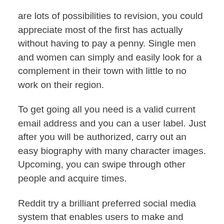are lots of possibilities to revision, you could appreciate most of the first has actually without having to pay a penny. Single men and women can simply and easily look for a complement in their town with little to no work on their region.
To get going all you need is a valid current email address and you can a user label. Just after you will be authorized, carry out an easy biography with many character images. Upcoming, you can swipe through other people and acquire times.
Reddit try a brilliant preferred social media system that enables users to make and register certain social network called subreddits. For each and every subreddit are serious about a topic and you will members can be blog post community forum discussions to interact with each other.